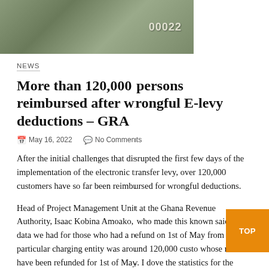[Figure (photo): Close-up photo of currency notes showing number '00022', partially cropped]
NEWS
More than 120,000 persons reimbursed after wrongful E-levy deductions – GRA
May 16, 2022   No Comments
After the initial challenges that disrupted the first few days of the implementation of the electronic transfer levy, over 120,000 customers have so far been reimbursed for wrongful deductions.
Head of Project Management Unit at the Ghana Revenue Authority, Isaac Kobina Amoako, who made this known said, "the data we had for those who had a refund on 1st of May from one particular charging entity was around 120,000 customers whose monies have been refunded for 1st of May. I don't have the statistics for the other charging entities and for the other days that the reversal has been made. We've met Mobile Money